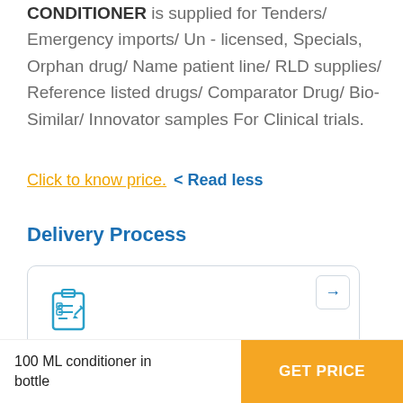CONDITIONER is supplied for Tenders/ Emergency imports/ Un - licensed, Specials, Orphan drug/ Name patient line/ RLD supplies/ Reference listed drugs/ Comparator Drug/ Bio-Similar/ Innovator samples For Clinical trials.
Click to know price.  < Read less
Delivery Process
[Figure (illustration): Card with clipboard/checklist icon, arrow button top right, title 'Submit a Request', and partial text 'You can fill in a request for your medicine through']
100 ML conditioner in bottle
GET PRICE